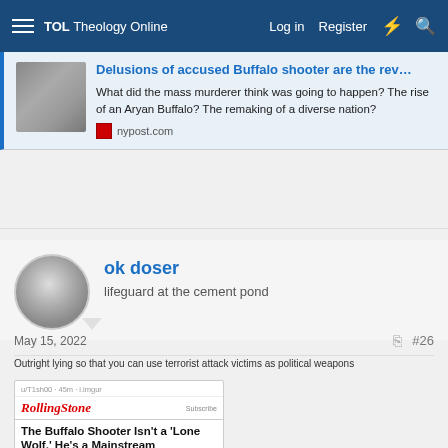TOL Theology Online | Log in | Register
[Figure (screenshot): Article card showing NY Post article about Buffalo shooter delusions]
Delusions of accused Buffalo shooter are the rev...
What did the mass murderer think was going to happen? The rise of an Aryan Buffalo? The remaking of a diverse nation?
nypost.com
ok doser
lifeguard at the cement pond
May 15, 2022
#26
[Figure (screenshot): Embedded Rolling Stone article screenshot: The Buffalo Shooter Isn't a 'Lone Wolf.' He's a Mainstream Republican. Text: The right-wing extremists who control the modern GOP are all gripped by a racist delusion. The shooter is just the latest to act on it. By Talia Lavin.]
Outright lying so that you can use terrorist attack victims as political weapons